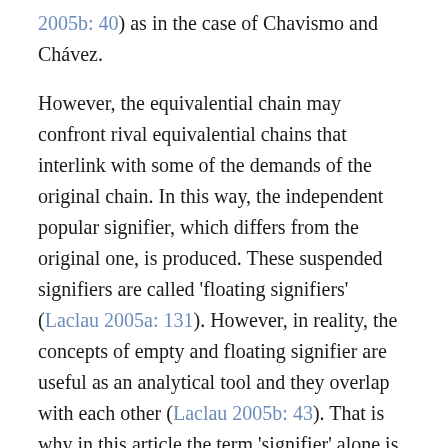2005b: 40) as in the case of Chavismo and Chávez.
However, the equivalential chain may confront rival equivalential chains that interlink with some of the demands of the original chain. In this way, the independent popular signifier, which differs from the original one, is produced. These suspended signifiers are called 'floating signifiers' (Laclau 2005a: 131). However, in reality, the concepts of empty and floating signifier are useful as an analytical tool and they overlap with each other (Laclau 2005b: 43). That is why in this article the term 'signifier' alone is sometimes used.
Visual representations in politics